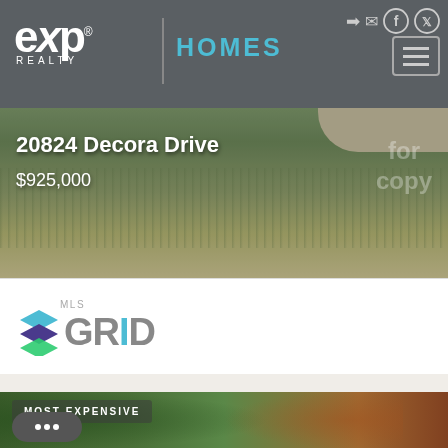[Figure (screenshot): eXp Realty website header with logo, HOMES text, navigation icons for login, email, Facebook, Twitter, and hamburger menu button]
[Figure (photo): Aerial/street view photo of property at 20824 Decora Drive showing lawn and landscaping, with watermark text for copy]
20824 Decora Drive
$925,000
[Figure (logo): MLS GRID logo with stacked colorful squares icon and gray GRID text with teal I]
[Figure (photo): Aerial drone photo of a house with dark roof surrounded by green and fall-colored trees, tagged MOST EXPENSIVE]
MOST EXPENSIVE